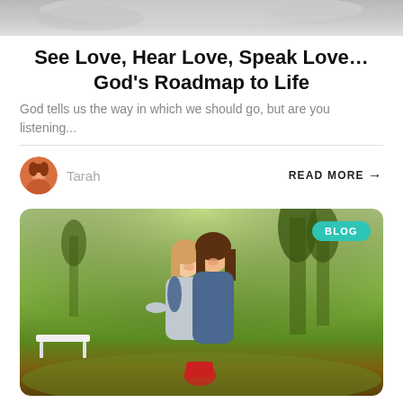[Figure (photo): Partial top banner image, greyed out landscape or figure]
See Love, Hear Love, Speak Love…God's Roadmap to Life
God tells us the way in which we should go, but are you listening...
Tarah   READ MORE →
[Figure (photo): Two women hugging outdoors in a green landscape, smiling, with a BLOG badge in the top right corner]